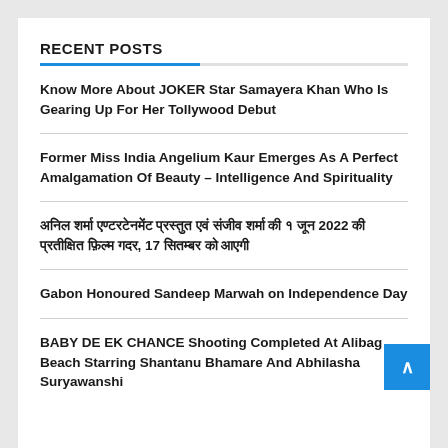RECENT POSTS
Know More About JOKER Star Samayera Khan Who Is Gearing Up For Her Tollywood Debut
Former Miss India Angelium Kaur Emerges As A Perfect Amalgamation Of Beauty – Intelligence And Spirituality
अनिल शर्मा एण्टरटेनमेंट प्रस्तुत एवं संजीव शर्मा की १ जून 2022 की प्रतीक्षित फ़िल्म गदर, 17 सितम्बर को आएगी
Gabon Honoured Sandeep Marwah on Independence Day
BABY DE EK CHANCE Shooting Completed At Alibag Beach Starring Shantanu Bhamare And Abhilasha Suryawanshi